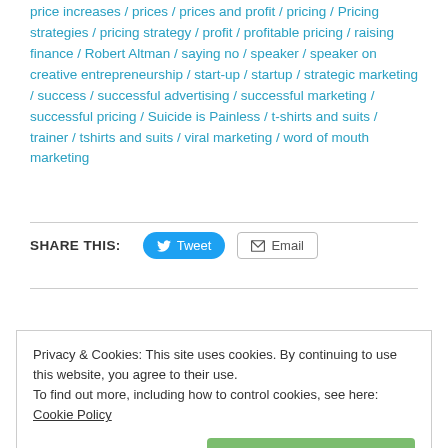price increases / prices / prices and profit / pricing / Pricing strategies / pricing strategy / profit / profitable pricing / raising finance / Robert Altman / saying no / speaker / speaker on creative entrepreneurship / start-up / startup / strategic marketing / success / successful advertising / successful marketing / successful pricing / Suicide is Painless / t-shirts and suits / trainer / tshirts and suits / viral marketing / word of mouth marketing
SHARE THIS: Tweet Email
Privacy & Cookies: This site uses cookies. By continuing to use this website, you agree to their use.
To find out more, including how to control cookies, see here: Cookie Policy
Close and accept